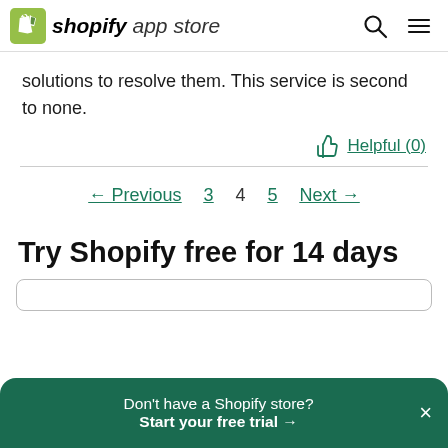shopify app store
solutions to resolve them. This service is second to none.
Helpful (0)
← Previous   3   4   5   Next →
Try Shopify free for 14 days
Don't have a Shopify store? Start your free trial →